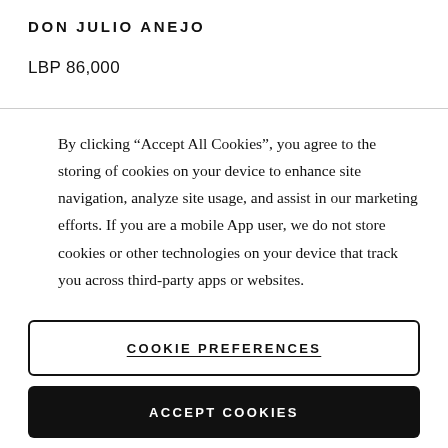DON JULIO ANEJO
LBP 86,000
By clicking “Accept All Cookies”, you agree to the storing of cookies on your device to enhance site navigation, analyze site usage, and assist in our marketing efforts. If you are a mobile App user, we do not store cookies or other technologies on your device that track you across third-party apps or websites.
COOKIE PREFERENCES
ACCEPT COOKIES